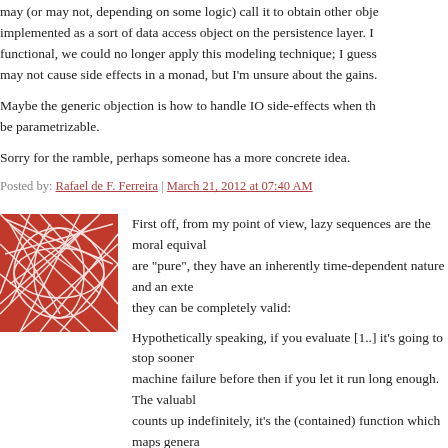may (or may not, depending on some logic) call it to obtain other objects — implemented as a sort of data access object on the persistence layer. If functional, we could no longer apply this modeling technique; I guess functions may not cause side effects in a monad, but I'm unsure about the gains.
Maybe the generic objection is how to handle IO side-effects when the code should be parametrizable.
Sorry for the ramble, perhaps someone has a more concrete idea.
Posted by: Rafael de F. Ferreira | March 21, 2012 at 07:40 AM
[Figure (illustration): Red and white abstract pattern illustration used as avatar]
First off, from my point of view, lazy sequences are the moral equivalent of IO. While they are "pure", they have an inherently time-dependent nature and an external state they depend on; they can be completely valid:
Hypothetically speaking, if you evaluate [1..] it's going to stop sooner or later due to machine failure before then if you let it run long enough. The valuable property of a list that counts up indefinitely, it's the (contained) function which maps genera
So, anyways, this dichotomy between what I see as the useful parts of OO and FP are closely related make talking about the relationship between OO and FP a bit s
That said: it has been my general experience that pushing regular, simple computations down and bringing irregular "application specific" computations up to towards the top gives a simple to understand and maintain system and a system that performs
But, also: in my experience, the "information hiding" aspect of "encapsulation" — if nothing else, it's hard to debug hidden information. But sometimes "